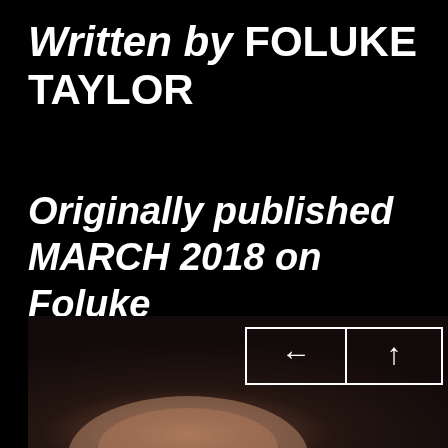Written by FOLUKE TAYLOR
Originally published MARCH 2018 on Foluke Taylor's blog
[Figure (photo): Dark photograph showing a person with overlaid navigation boxes containing left and up arrows]